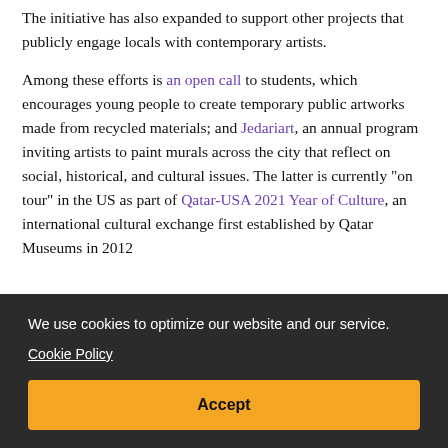The initiative has also expanded to support other projects that publicly engage locals with contemporary artists.
Among these efforts is an open call to students, which encourages young people to create temporary public artworks made from recycled materials; and Jedariart, an annual program inviting artists to paint murals across the city that reflect on social, historical, and cultural issues. The latter is currently "on tour" in the US as part of Qatar-USA 2021 Year of Culture, an international cultural exchange first established by Qatar Museums in 2012
We use cookies to optimize our website and our service. Cookie Policy
Accept
permanent part of Qatar's urban fabric.